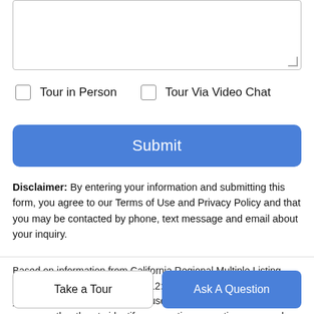[Figure (other): Text input textarea with resize handle]
Tour in Person
Tour Via Video Chat
Submit
Disclaimer: By entering your information and submitting this form, you agree to our Terms of Use and Privacy Policy and that you may be contacted by phone, text message and email about your inquiry.
Based on information from California Regional Multiple Listing Service, Inc. as of 2022-09-01T12:41:04.51. This information is for your personal, non-commercial use and may not be used for any purpose other than to identify prospective properties you may be
Take a Tour
Ask A Question